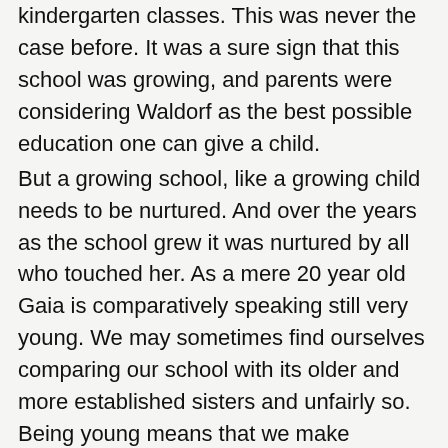kindergarten classes. This was never the case before. It was a sure sign that this school was growing, and parents were considering Waldorf as the best possible education one can give a child. But a growing school, like a growing child needs to be nurtured. And over the years as the school grew it was nurtured by all who touched her. As a mere 20 year old Gaia is comparatively speaking still very young. We may sometimes find ourselves comparing our school with its older and more established sisters and unfairly so. Being young means that we make mistakes but also possess the agility to quickly move past them with renewed energy and forgiveness. As a Waldorf parent for nearly 5 years I have been privileged to share my time and space with the most amazingly loving (but firm) teachers, committed parents, admin staff and the community who so readily supports us. We may be young but watch this space!